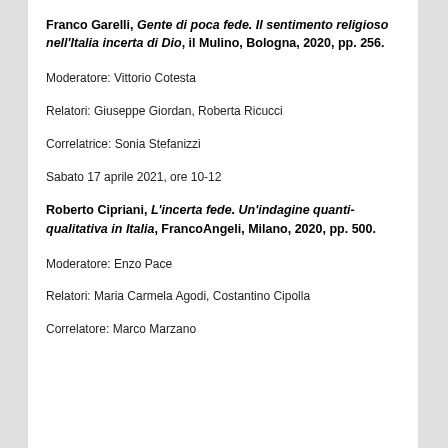Franco Garelli, Gente di poca fede. Il sentimento religioso nell'Italia incerta di Dio, il Mulino, Bologna, 2020, pp. 256.
Moderatore: Vittorio Cotesta
Relatori: Giuseppe Giordan, Roberta Ricucci
Correlatrice: Sonia Stefanizzi
Sabato 17 aprile 2021, ore 10-12
Roberto Cipriani, L'incerta fede. Un'indagine quanti-qualitativa in Italia, FrancoAngeli, Milano, 2020, pp. 500.
Moderatore: Enzo Pace
Relatori: Maria Carmela Agodi, Costantino Cipolla
Correlatore: Marco Marzano